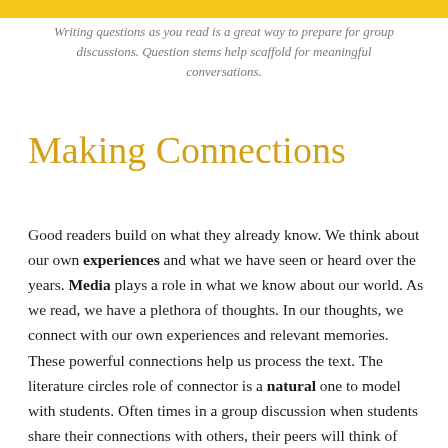Writing questions as you read is a great way to prepare for group discussions. Question stems help scaffold for meaningful conversations.
Making Connections
Good readers build on what they already know. We think about our own experiences and what we have seen or heard over the years. Media plays a role in what we know about our world. As we read, we have a plethora of thoughts. In our thoughts, we connect with our own experiences and relevant memories. These powerful connections help us process the text. The literature circles role of connector is a natural one to model with students. Often times in a group discussion when students share their connections with others, their peers will think of connections that they hadn't